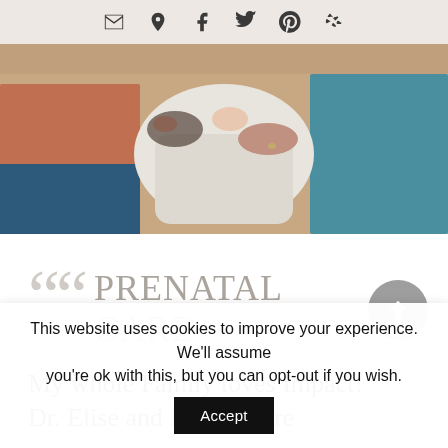Social/contact icon bar (email, location, Facebook, Twitter, Pinterest, Yelp)
[Figure (photo): Close-up photo of two adults' hands holding a baby, family scene]
PRENATAL CARE
My whole Family loves Impact! Dr. Elise and Dr. Lara are
This website uses cookies to improve your experience. We'll assume you're ok with this, but you can opt-out if you wish.